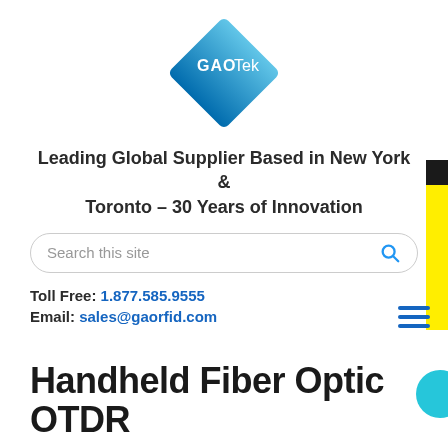[Figure (logo): GAO Tek diamond-shaped logo in blue gradient with white text]
Leading Global Supplier Based in New York & Toronto - 30 Years of Innovation
Search this site
Toll Free: 1.877.585.9555
Email: sales@gaorfid.com
Handheld Fiber Optic OTDR